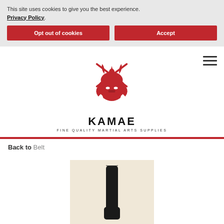This site uses cookies to give you the best experience. Privacy Policy.
Opt out of cookies
Accept
[Figure (logo): Kamae martial arts logo - red samurai helmet illustration with crossed weapons above, text KAMAE in bold and FINE QUALITY MARTIAL ARTS SUPPLIES below]
Back to Belt
[Figure (photo): Product photo of a black martial arts belt on a beige/cream background]